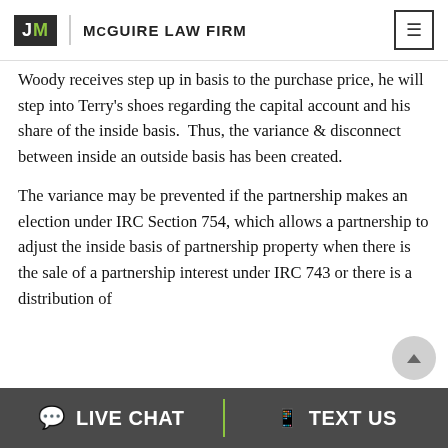McGuire Law Firm
Woody receives step up in basis to the purchase price, he will step into Terry's shoes regarding the capital account and his share of the inside basis.  Thus, the variance & disconnect between inside an outside basis has been created.
The variance may be prevented if the partnership makes an election under IRC Section 754, which allows a partnership to adjust the inside basis of partnership property when there is the sale of a partnership interest under IRC 743 or there is a distribution of
LIVE CHAT   TEXT US